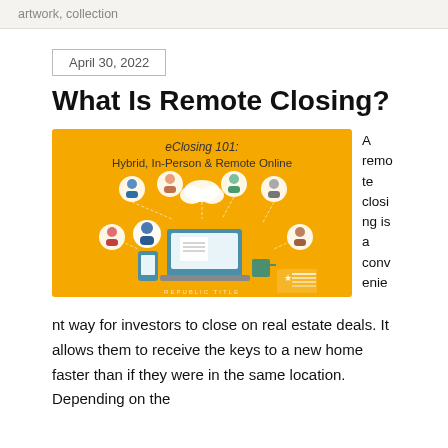artwork, collection
April 30, 2022
What Is Remote Closing?
[Figure (infographic): eClosing 101: Hybrid, In-Person & Remote Online. Yellow background infographic showing various people connected via lines to a laptop and mobile device, with a cloud icon. Republic Title branding at bottom right.]
A remote closing is a convenient way for investors to close on real estate deals. It allows them to receive the keys to a new home faster than if they were in the same location. Depending on the